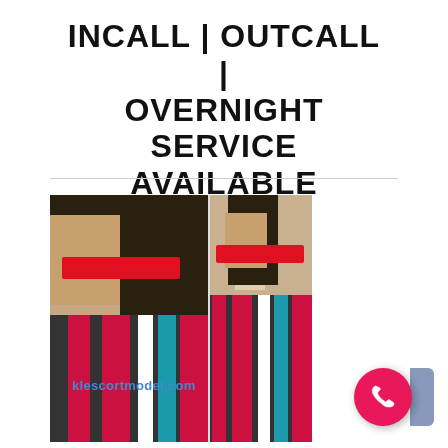INCALL | OUTCALL | OVERNIGHT SERVICE AVAILABLE
[Figure (photo): Two photos of a woman with dark long hair wearing a striped black, magenta, white and teal dress. Her eyes are obscured by a red bar in both photos. A watermark reads klescortmodel.com.]